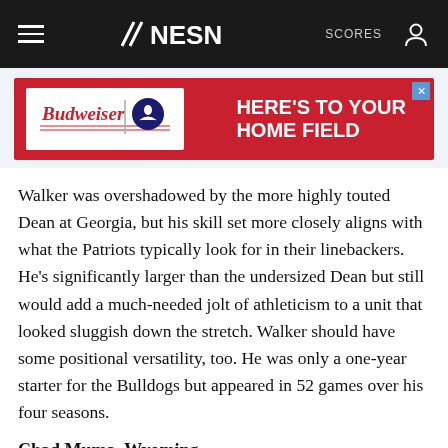NESN | SCORES
[Figure (other): Budweiser and MLB logo advertisement banner: HERE'S TO YOUR HOME FIELD]
Walker was overshadowed by the more highly touted Dean at Georgia, but his skill set more closely aligns with what the Patriots typically look for in their linebackers. He's significantly larger than the undersized Dean but still would add a much-needed jolt of athleticism to a unit that looked sluggish down the stretch. Walker should have some positional versatility, too. He was only a one-year starter for the Bulldogs but appeared in 52 games over his four seasons.
Chad Muma, Wyoming
6-foot-3, 239 pounds
After waiting his turn behind current Cincinnati Bengal